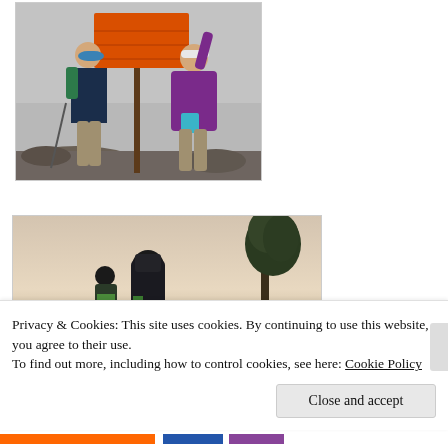[Figure (photo): Two hikers standing in front of an orange trail sign on a rocky, foggy mountain summit. One person wears a blue cap and dark jacket, the other wears a purple hoodie and is reaching up to touch the sign.]
[Figure (photo): Hiker with a large backpack photographed from behind against a twilight sky, with a tall evergreen tree visible to the right.]
Privacy & Cookies: This site uses cookies. By continuing to use this website, you agree to their use.
To find out more, including how to control cookies, see here: Cookie Policy
Close and accept